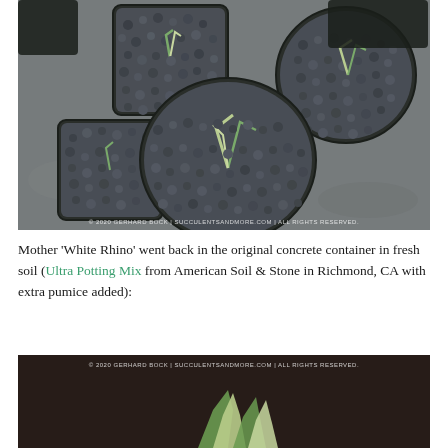[Figure (photo): Overhead view of multiple succulent plants in square and round dark plastic pots filled with dark gravel/pumice, arranged on a concrete surface. Plants appear to be Sansevieria 'White Rhino' cuttings. Watermark reads: © 2020 GERHARD BOCK | SUCCULENTSANDMORE.COM | ALL RIGHTS RESERVED.]
Mother 'White Rhino' went back in the original concrete container in fresh soil (Ultra Potting Mix from American Soil & Stone in Richmond, CA with extra pumice added):
[Figure (photo): Partial photo of succulent plant (Sansevieria 'White Rhino') in a dark container, bottom portion of image visible. Watermark reads: © 2020 GERHARD BOCK | SUCCULENTSANDMORE.COM | ALL RIGHTS RESERVED.]